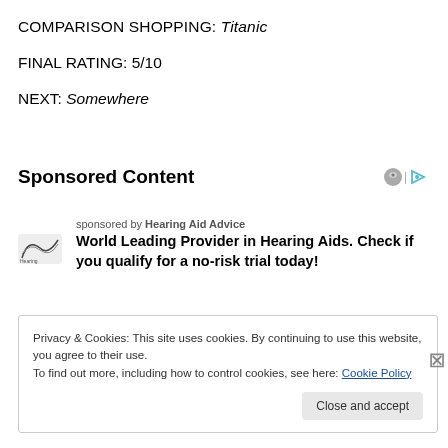COMPARISON SHOPPING: Titanic
FINAL RATING: 5/10
NEXT: Somewhere
Sponsored Content
sponsored by Hearing Aid Advice
World Leading Provider in Hearing Aids. Check if you qualify for a no-risk trial today!
Privacy & Cookies: This site uses cookies. By continuing to use this website, you agree to their use.
To find out more, including how to control cookies, see here: Cookie Policy